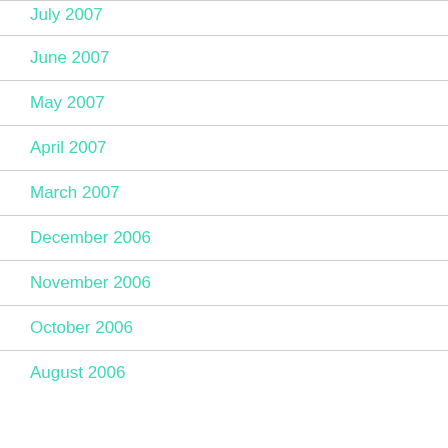July 2007
June 2007
May 2007
April 2007
March 2007
December 2006
November 2006
October 2006
August 2006